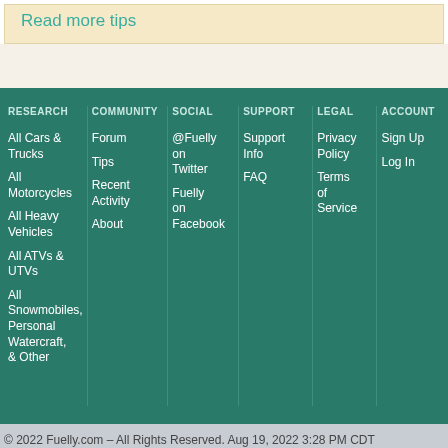Read more tips
RESEARCH
All Cars & Trucks
All Motorcycles
All Heavy Vehicles
All ATVs & UTVs
All Snowmobiles, Personal Watercraft, & Other
COMMUNITY
Forum
Tips
Recent Activity
About
SOCIAL
@Fuelly on Twitter
Fuelly on Facebook
SUPPORT
Support Info
FAQ
LEGAL
Privacy Policy
Terms of Service
ACCOUNT
Sign Up
Log In
© 2022 Fuelly.com – All Rights Reserved. Aug 19, 2022 3:28 PM CDT